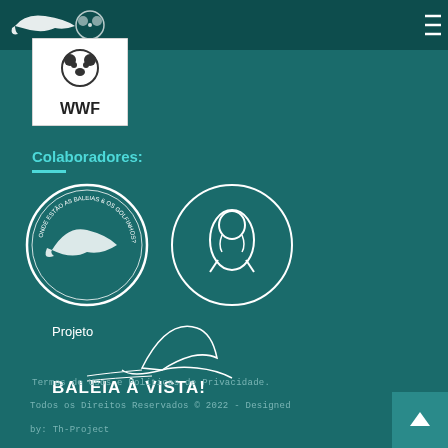[Figure (logo): Dark teal navigation bar with whale/dolphin logo on left and hamburger menu icon on right]
[Figure (logo): WWF logo in white box with panda icon and WWF text]
Colaboradores:
[Figure (logo): Two circular logos: left circle with dolphins/whales text 'Onde estão as Baleias e os Golfinhos?', right circle with penguin outline illustration]
[Figure (logo): Projeto Baleia à Vista! logo with whale fin illustration and text]
Termos de Usos e Políticas de Privacidade.
Todos os Direitos Reservados © 2022 - Designed by: Th-Project